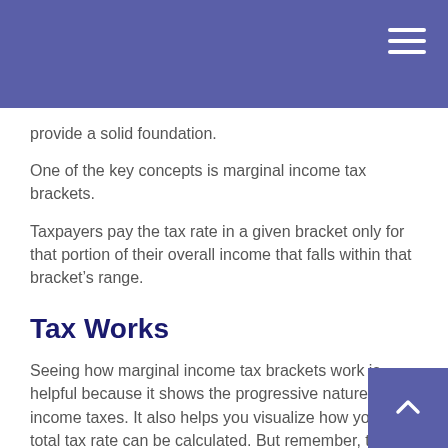provide a solid foundation.
One of the key concepts is marginal income tax brackets.
Taxpayers pay the tax rate in a given bracket only for that portion of their overall income that falls within that bracket’s range.
Tax Works
Seeing how marginal income tax brackets work is helpful because it shows the progressive nature of income taxes. It also helps you visualize how your total tax rate can be calculated. But remember, this material is not intended as tax or legal advice. Please consult a tax professional for specific information regarding your individual situation.